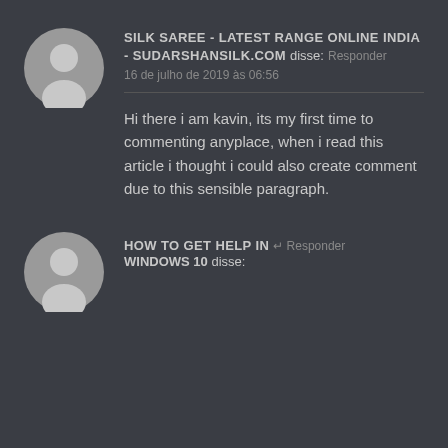[Figure (illustration): Gray circular avatar with white silhouette person icon]
SILK SAREE - LATEST RANGE ONLINE INDIA - SUDARSHANSILK.COM disse: 16 de julho de 2019 às 06:56
Hi there i am kavin, its my first time to commenting anyplace, when i read this article i thought i could also create comment due to this sensible paragraph.
[Figure (illustration): Gray circular avatar with white silhouette person icon (partially visible)]
HOW TO GET HELP IN WINDOWS 10 disse: